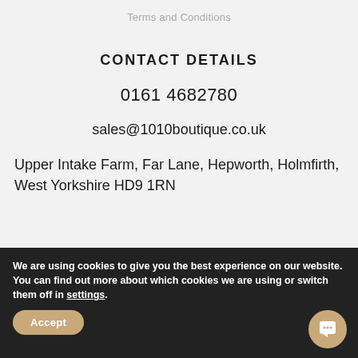Terms and Conditions
CONTACT DETAILS
0161 4682780
sales@1010boutique.co.uk
Upper Intake Farm, Far Lane, Hepworth, Holmfirth, West Yorkshire HD9 1RN
We are using cookies to give you the best experience on our website.
You can find out more about which cookies we are using or switch them off in settings.
Accept